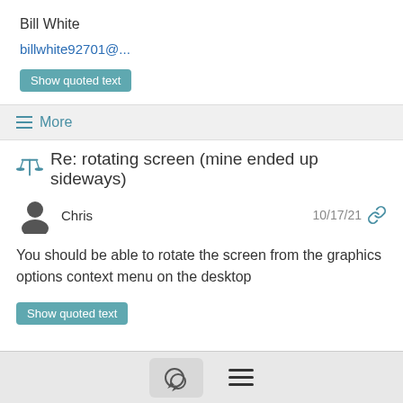Bill White
billwhite92701@...
Show quoted text
More
Re: rotating screen (mine ended up sideways)
Chris  10/17/21
You should be able to rotate the screen from the graphics options context menu on the desktop
Show quoted text